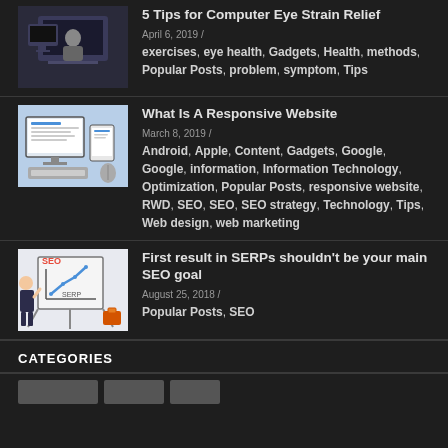[Figure (photo): Thumbnail of person at computer (eye strain article)]
5 Tips for Computer Eye Strain Relief
April 6, 2019 / exercises, eye health, Gadgets, Health, methods, Popular Posts, problem, symptom, Tips
[Figure (illustration): Thumbnail of responsive website on multiple devices]
What Is A Responsive Website
March 8, 2019 / Android, Apple, Content, Gadgets, Google, Google, information, Information Technology, Optimization, Popular Posts, responsive website, RWD, SEO, SEO, SEO strategy, Technology, Tips, Web design, web marketing
[Figure (illustration): Cartoon person pointing to SEO/SERP chart on whiteboard]
First result in SERPs shouldn’t be your main SEO goal
August 25, 2018 / Popular Posts, SEO
CATEGORIES